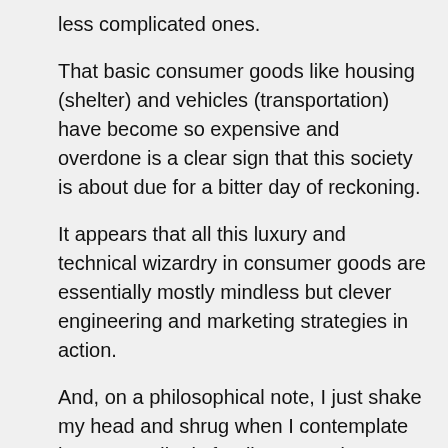less complicated ones.
That basic consumer goods like housing (shelter) and vehicles (transportation) have become so expensive and overdone is a clear sign that this society is about due for a bitter day of reckoning.
It appears that all this luxury and technical wizardry in consumer goods are essentially mostly mindless but clever engineering and marketing strategies in action.
And, on a philosophical note, I just shake my head and shrug when I contemplate how exceedingly fragile our modern technological society really is. All it would take is one solar super flare or an EMP blast in upper